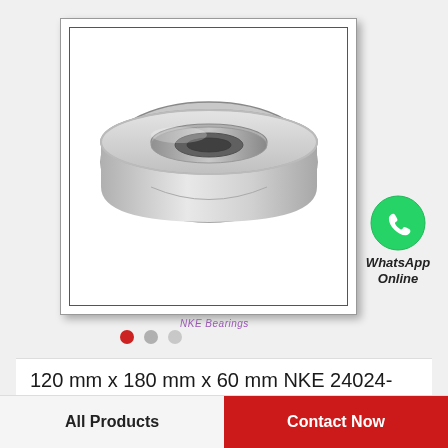[Figure (photo): Photo of a spherical roller bearing (NKE brand) — metallic silver ring bearing with inner and outer races, shown at an angle. Displayed inside a white box with double border.]
NKE Bearings
[Figure (logo): WhatsApp logo icon (green circle with white phone handset) with text 'WhatsApp Online' below]
120 mm x 180 mm x 60 mm NKE 24024-CE-W33 spherical roller bearings
All Products
Contact Now